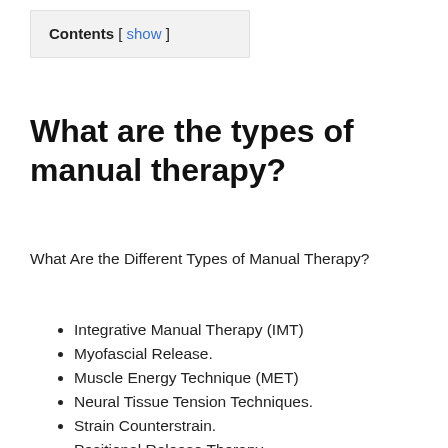Contents [ show ]
What are the types of manual therapy?
What Are the Different Types of Manual Therapy?
Integrative Manual Therapy (IMT)
Myofascial Release.
Muscle Energy Technique (MET)
Neural Tissue Tension Techniques.
Strain Counterstrain.
Positional Release Therapy.